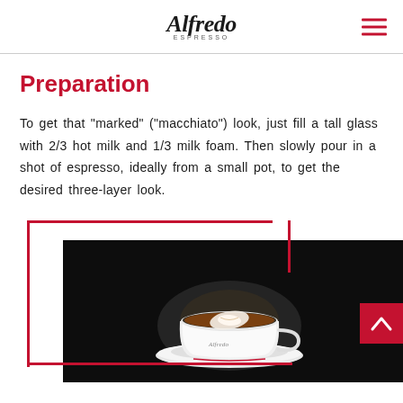Alfredo ESPRESSO
Preparation
To get that “marked” (“macchiato”) look, just fill a tall glass with 2/3 hot milk and 1/3 milk foam. Then slowly pour in a shot of espresso, ideally from a small pot, to get the desired three-layer look.
[Figure (photo): Photo of an espresso macchiato in a white Alfredo-branded cup on a saucer, shot against a dark background, showing the layered coffee drink with a swirl of milk foam on top. A red decorative border graphic overlays the image.]